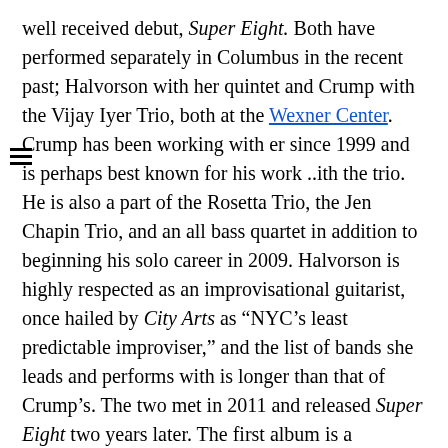well received debut, Super Eight. Both have performed separately in Columbus in the recent past; Halvorson with her quintet and Crump with the Vijay Iyer Trio, both at the Wexner Center. Crump has been working with er since 1999 and is perhaps best known for his work ..ith the trio. He is also a part of the Rosetta Trio, the Jen Chapin Trio, and an all bass quartet in addition to beginning his solo career in 2009. Halvorson is highly respected as an improvisational guitarist, once hailed by City Arts as “NYC’s least predictable improviser,” and the list of bands she leads and performs with is longer than that of Crump’s. The two met in 2011 and released Super Eight two years later. The first album is a documentation of the first time the two ever played together, no planning or writing, just a session that was luckily recorded. The new album Emerge is said to be a different take on the collaboration, with Crump saying